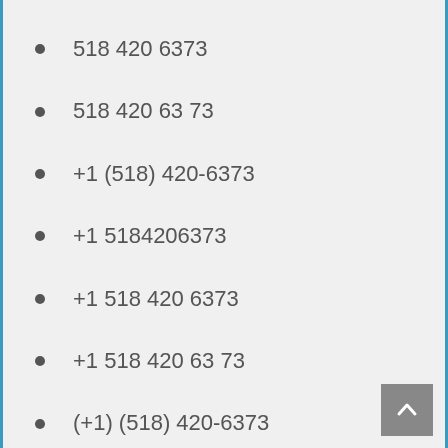518 420 6373
518 420 63 73
+1 (518) 420-6373
+1 5184206373
+1 518 420 6373
+1 518 420 63 73
(+1) (518) 420-6373
(+1) 5184206373